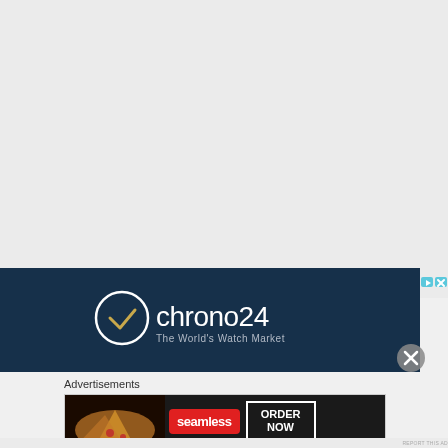[Figure (other): Empty light gray area at top of page, likely content area above an advertisement]
[Figure (logo): Chrono24 advertisement banner with dark navy background. Logo shows a circular clock icon with a checkmark, text reads 'Chrono24 - The World's Watch Market' in white and gold.]
Advertisements
[Figure (other): Seamless food delivery advertisement banner. Shows pizza on left, red Seamless badge in center, and 'ORDER NOW' button on right with white border on dark background.]